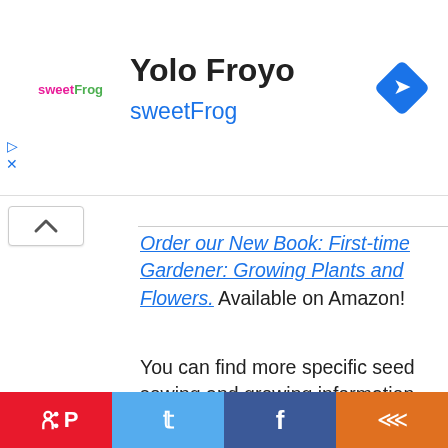[Figure (logo): sweetFrog logo with pink 'sweet' and green 'Frog' text]
Yolo Froyo
sweetFrog
[Figure (other): Blue diamond navigation arrow icon]
Order our New Book: First-time Gardener: Growing Plants and Flowers. Available on Amazon!
You can find more specific seed sowing and growing information when you order our new book "The First-time Gardener: Growing Plants and Flowers" on Amazon, available now!
[Figure (other): Social sharing bar with Pinterest, Twitter, Facebook, and Share buttons]